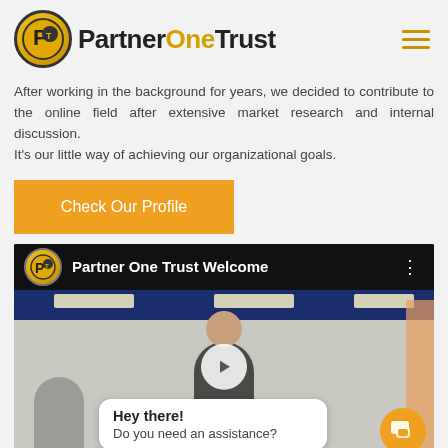[Figure (logo): PartnerOneTrust logo — gold circle with P/T icon and wordmark 'PartnerOneTrust' in black and gold text, plus hamburger menu icon top right]
After working in the background for years, we decided to contribute to the online field after extensive market research and internal discussion.
It's our little way of achieving our organizational goals.
[Figure (other): Orange 'Check Our Profile' button]
[Figure (screenshot): Video thumbnail showing 'Partner One Trust Welcome' with the PartnerOneTrust logo, a play button, office scene with people, chat bubble saying 'Hey there! Do you need an assistance?' and orange chat icon]